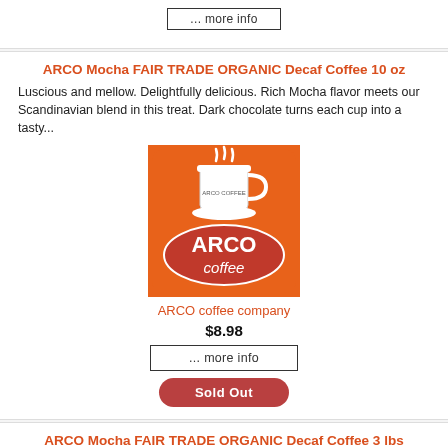[Figure (other): Partial '... more info' button visible at top of page (cut off)]
ARCO Mocha FAIR TRADE ORGANIC Decaf Coffee 10 oz
Luscious and mellow. Delightfully delicious. Rich Mocha flavor meets our Scandinavian blend in this treat. Dark chocolate turns each cup into a tasty...
[Figure (logo): ARCO Coffee company product image: orange background with a coffee cup steaming, red oval with 'ARCO coffee' text in white]
ARCO coffee company
$8.98
... more info
Sold Out
ARCO Mocha FAIR TRADE ORGANIC Decaf Coffee 3 lbs
Luscious and mellow. Delightfully delicious. Rich Mocha flavor meets our Scandinavian blend in this treat. Dark chocolate turns each cup into a tasty...
[Figure (logo): ARCO Coffee company product image (partial, cut off at bottom): orange background with coffee cup]